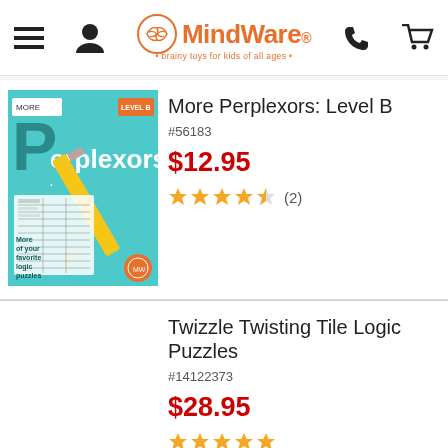MindWare - brainy toys for kids of all ages
[Figure (photo): Product image of More Perplexors: Level B book with pencil]
More Perplexors: Level B
#56183
$12.95
★★★★½ (2)
Twizzle Twisting Tile Logic Puzzles
#14122373
$28.95
★★★★★